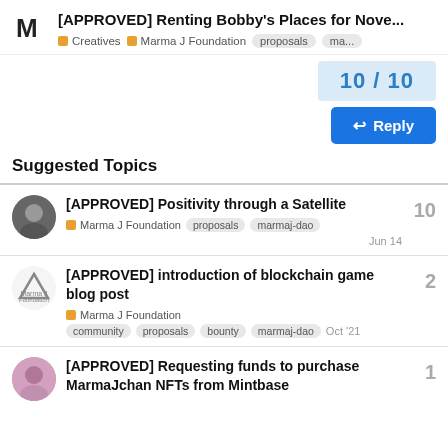[APPROVED] Renting Bobby's Places for Nove... | Creatives | Marma J Foundation | proposals | ma...
10 / 10
Reply
Suggested Topics
[APPROVED] Positivity through a Satellite | Marma J Foundation | proposals | marmaj-dao | Jun 14 | 10
[APPROVED] introduction of blockchain game blog post | Marma J Foundation | community | proposals | bounty | marmaj-dao | Oct '21 | 2
[APPROVED] Requesting funds to purchase MarmaJchan NFTs from Mintbase | 1